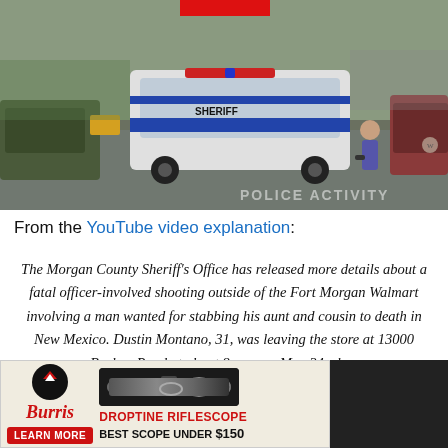[Figure (photo): Scene of a police officer-involved shooting in a parking lot, showing a white police cruiser and several other vehicles with people visible, watermark reading POLICE ACTIVITY in the lower right, and a red element at top center.]
From the YouTube video explanation:
The Morgan County Sheriff’s Office has released more details about a fatal officer-involved shooting outside of the Fort Morgan Walmart involving a man wanted for stabbing his aunt and cousin to death in New Mexico. Dustin Montano, 31, was leaving the store at 13000 Barlow Road at about 8 a.m. on May 24 when [obscured by ad] s by the [obscured] le died on [obscured]
[Figure (other): Advertisement for Burris Droptine Riflescope. Features the Burris logo, an image of the riflescope, text reading DROPTINE RIFLESCOPE BEST SCOPE UNDER $150, and a LEARN MORE button.]